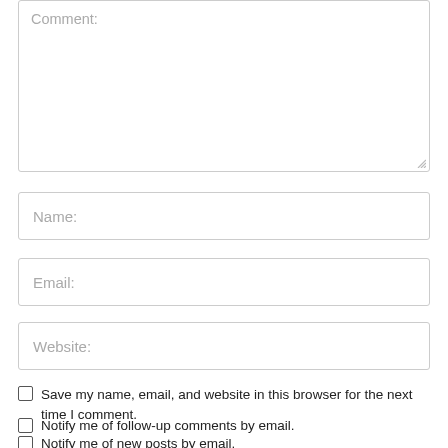Comment:
Name:
Email:
Website:
Save my name, email, and website in this browser for the next time I comment.
Notify me of follow-up comments by email.
Notify me of new posts by email.